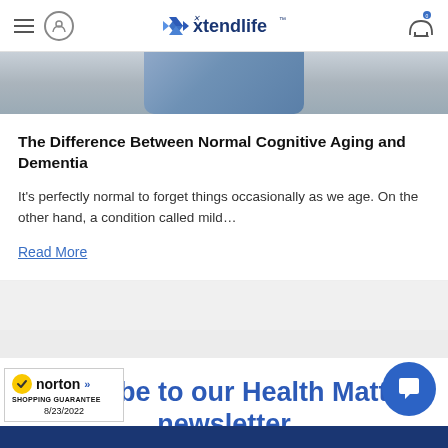Xtendlife
[Figure (photo): Partial photo of a person wearing a blue shirt, cropped at torso level]
The Difference Between Normal Cognitive Aging and Dementia
It's perfectly normal to forget things occasionally as we age. On the other hand, a condition called mild…
Read More
Subscribe to our Health Matters newsletter
[Figure (logo): Norton Shopping Guarantee badge with checkmark, dated 8/23/2022]